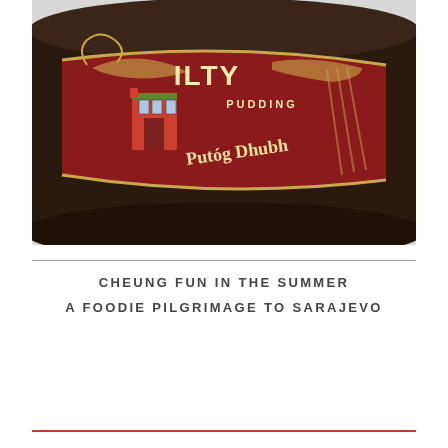[Figure (photo): Close-up photograph of a dark cylindrical Irish black pudding (Putóg Dhubh) with a red and gold decorative label reading 'ALTY PORK PUDDING' and 'Putóg Dhubh', showing a small illustrated shop facade on the label.]
CHEUNG FUN IN THE SUMMER
A FOODIE PILGRIMAGE TO SARAJEVO